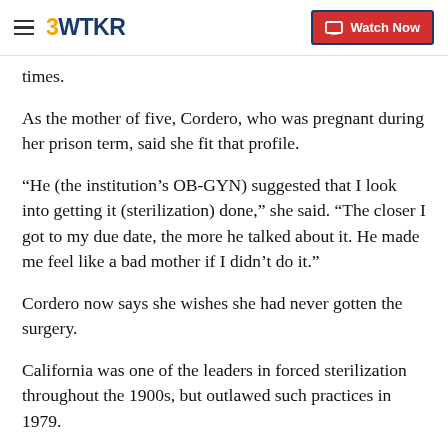3WTKR | Watch Now
times.
As the mother of five, Cordero, who was pregnant during her prison term, said she fit that profile.
“He (the institution’s OB-GYN) suggested that I look into getting it (sterilization) done,” she said. “The closer I got to my due date, the more he talked about it. He made me feel like a bad mother if I didn’t do it.”
Cordero now says she wishes she had never gotten the surgery.
California was one of the leaders in forced sterilization throughout the 1900s, but outlawed such practices in 1979.